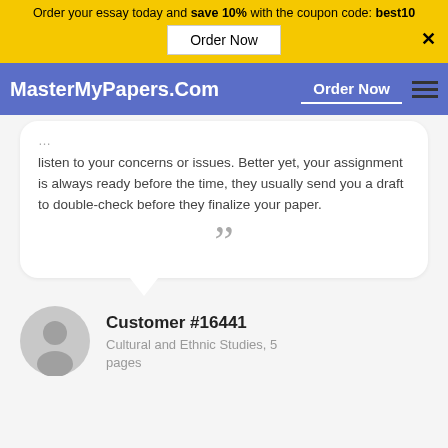Order your essay today and save 10% with the coupon code: best10
Order Now
MasterMyPapers.Com  Order Now
listen to your concerns or issues. Better yet, your assignment is always ready before the time, they usually send you a draft to double-check before they finalize your paper.
Customer #16441
Cultural and Ethnic Studies, 5 pages